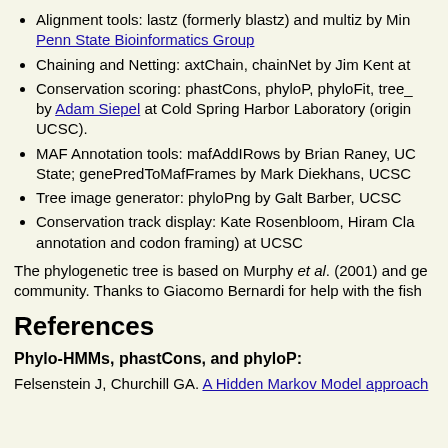Alignment tools: lastz (formerly blastz) and multiz by Min... Penn State Bioinformatics Group
Chaining and Netting: axtChain, chainNet by Jim Kent at...
Conservation scoring: phastCons, phyloP, phyloFit, tree_... by Adam Siepel at Cold Spring Harbor Laboratory (origin... UCSC).
MAF Annotation tools: mafAddIRows by Brian Raney, UC... State; genePredToMafFrames by Mark Diekhans, UCSC
Tree image generator: phyloPng by Galt Barber, UCSC
Conservation track display: Kate Rosenbloom, Hiram Cla... annotation and codon framing) at UCSC
The phylogenetic tree is based on Murphy et al. (2001) and ge... community. Thanks to Giacomo Bernardi for help with the fish
References
Phylo-HMMs, phastCons, and phyloP:
Felsenstein J, Churchill GA. A Hidden Markov Model approach...